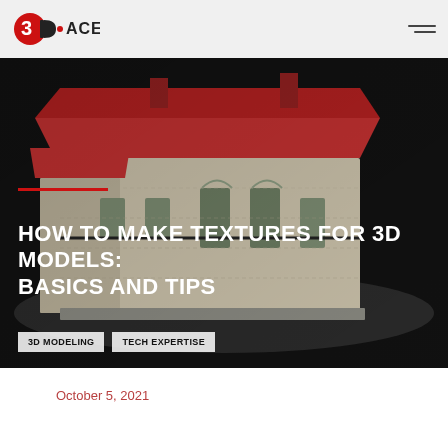3D·ACE
[Figure (photo): 3D rendered model of a historical European building with a red roof and brick facade, displayed against a dark background]
HOW TO MAKE TEXTURES FOR 3D MODELS: BASICS AND TIPS
3D MODELING
TECH EXPERTISE
October 5, 2021